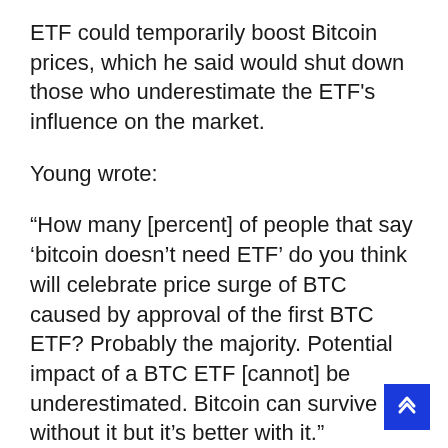ETF could temporarily boost Bitcoin prices, which he said would shut down those who underestimate the ETF's influence on the market.
Young wrote:
“How many [percent] of people that say ‘bitcoin doesn’t need ETF’ do you think will celebrate price surge of BTC caused by approval of the first BTC ETF? Probably the majority. Potential impact of a BTC ETF [cannot] be underestimated. Bitcoin can survive without it but it’s better with it.”